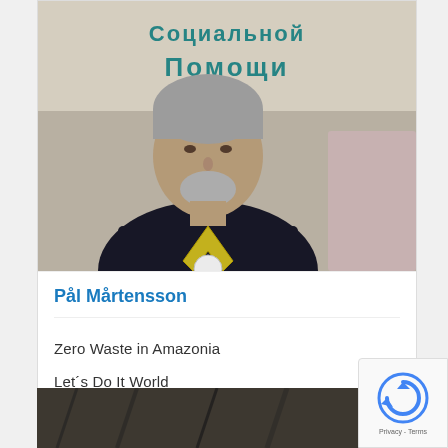[Figure (photo): Photograph of Pål Mårtensson, an older man with grey hair and beard wearing a dark jacket with a yellow lanyard and a round badge. Behind him is a banner with Cyrillic text reading 'Социальной Помощи' (Social Assistance) in teal letters.]
Pål Mårtensson
Zero Waste in Amazonia
Let´s Do It World
[Figure (photo): Partial bottom image, dark tones, partially visible.]